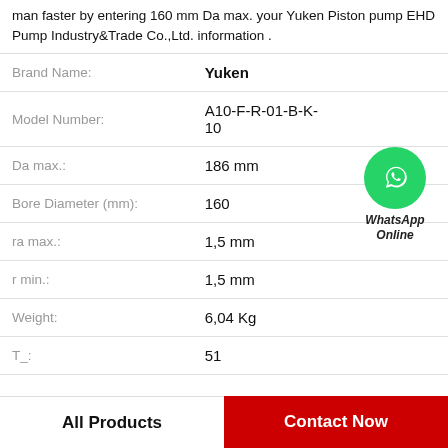man faster by entering 160 mm Da max. your Yuken Piston pump EHD Pump Industry&Trade Co.,Ltd. information .
| Property | Value |
| --- | --- |
| Brand Name: | Yuken |
| Model Number: | A10-F-R-01-B-K-10 |
| Da max.: | 186 mm |
| Bore Diameter (mm): | 160 |
| ra max.: | 1,5 mm |
| r min.: | 1,5 mm |
| Weight: | 6,04 Kg |
| T_: | 51 |
[Figure (illustration): WhatsApp Online green circle icon with phone handset, labeled WhatsApp Online in italic bold text]
All Products
Contact Now